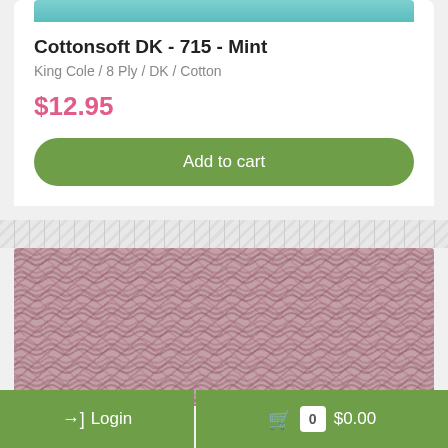[Figure (photo): Close-up photo of mint/teal colored yarn texture at top of page, partially visible]
Cottonsoft DK - 715 - Mint
King Cole / 8 Ply / DK / Cotton
$12.95
Add to cart
[Figure (photo): Close-up photo of dusty pink/mauve cotton yarn showing diagonal twisted strands texture]
Login   0  $0.00